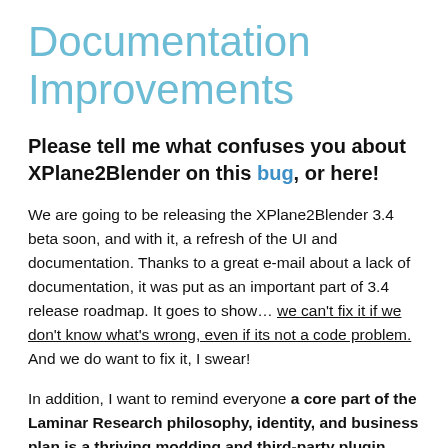Documentation Improvements
Please tell me what confuses you about XPlane2Blender on this bug, or here!
We are going to be releasing the XPlane2Blender 3.4 beta soon, and with it, a refresh of the UI and documentation. Thanks to a great e-mail about a lack of documentation, it was put as an important part of 3.4 release roadmap. It goes to show… we can't fix it if we don't know what's wrong, even if its not a code problem. And we do want to fix it, I swear!
In addition, I want to remind everyone a core part of the Laminar Research philosophy, identity, and business plan is a thriving modding and third-party plugin ecosystem. Aside from build scripts and the